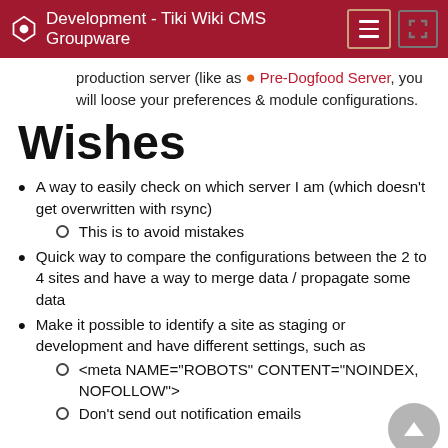Development - Tiki Wiki CMS Groupware
production server (like as ● Pre-Dogfood Server, you will loose your preferences & module configurations.
Wishes
A way to easily check on which server I am (which doesn't get overwritten with rsync)
This is to avoid mistakes
Quick way to compare the configurations between the 2 to 4 sites and have a way to merge data / propagate some data
Make it possible to identify a site as staging or development and have different settings, such as
<meta NAME="ROBOTS" CONTENT="NOINDEX, NOFOLLOW">
Don't send out notification emails